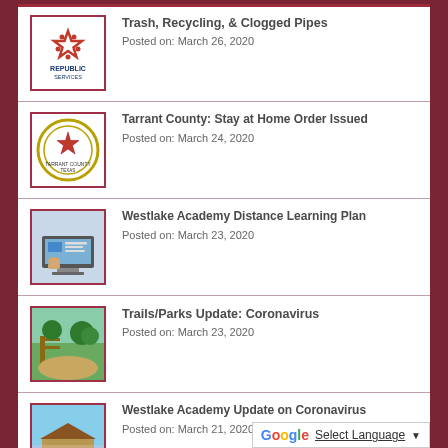Trash, Recycling, & Clogged Pipes
Posted on: March 26, 2020
Tarrant County: Stay at Home Order Issued
Posted on: March 24, 2020
Westlake Academy Distance Learning Plan
Posted on: March 23, 2020
Trails/Parks Update: Coronavirus
Posted on: March 23, 2020
Westlake Academy Update on Coronavirus
Posted on: March 21, 2020
Solana Boulevard R...
Select Language